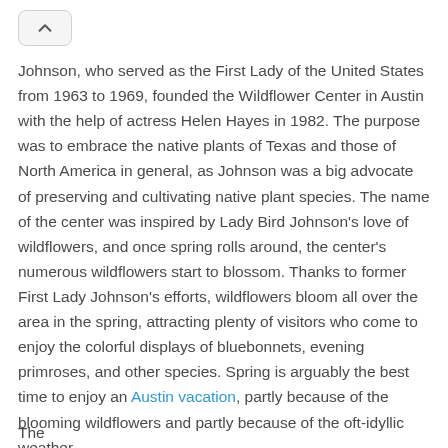[Figure (other): Navigation chevron/up-arrow button in top-left corner]
Johnson, who served as the First Lady of the United States from 1963 to 1969, founded the Wildflower Center in Austin with the help of actress Helen Hayes in 1982. The purpose was to embrace the native plants of Texas and those of North America in general, as Johnson was a big advocate of preserving and cultivating native plant species. The name of the center was inspired by Lady Bird Johnson's love of wildflowers, and once spring rolls around, the center's numerous wildflowers start to blossom. Thanks to former First Lady Johnson's efforts, wildflowers bloom all over the area in the spring, attracting plenty of visitors who come to enjoy the colorful displays of bluebonnets, evening primroses, and other species. Spring is arguably the best time to enjoy an Austin vacation, partly because of the blooming wildflowers and partly because of the oft-idyllic weather.
The...